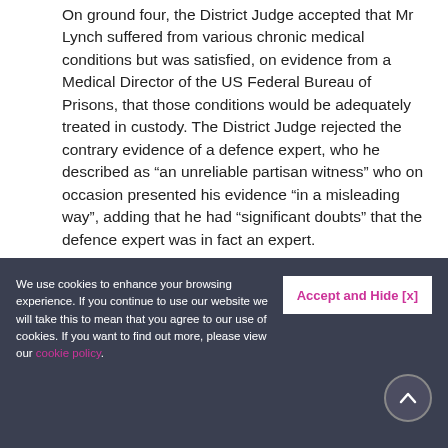On ground four, the District Judge accepted that Mr Lynch suffered from various chronic medical conditions but was satisfied, on evidence from a Medical Director of the US Federal Bureau of Prisons, that those conditions would be adequately treated in custody. The District Judge rejected the contrary evidence of a defence expert, who he described as “an unreliable partisan witness” who on occasion presented his evidence “in a misleading way”, adding that he had “significant doubts” that the defence expert was in fact an expert.
On ground five, the District Judge concluded
We use cookies to enhance your browsing experience. If you continue to use our website we will take this to mean that you agree to our use of cookies. If you want to find out more, please view our cookie policy.